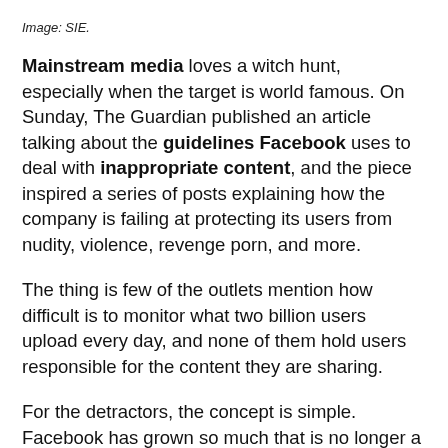Image: SIE.
Mainstream media loves a witch hunt, especially when the target is world famous. On Sunday, The Guardian published an article talking about the guidelines Facebook uses to deal with inappropriate content, and the piece inspired a series of posts explaining how the company is failing at protecting its users from nudity, violence, revenge porn, and more.
The thing is few of the outlets mention how difficult is to monitor what two billion users upload every day, and none of them hold users responsible for the content they are sharing.
For the detractors, the concept is simple. Facebook has grown so much that is no longer a regular tech or social media company. Instead, it is a new kind of “super influential organization” that has to protect every single one